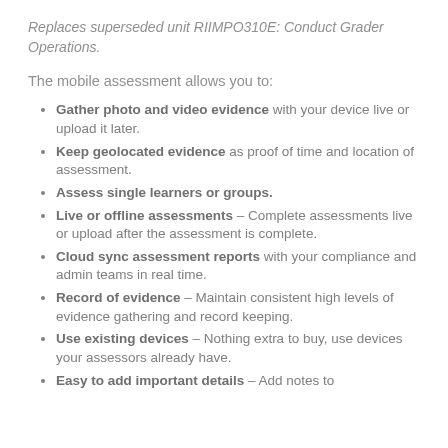Replaces superseded unit RIIMPO310E: Conduct Grader Operations.
The mobile assessment allows you to:
Gather photo and video evidence with your device live or upload it later.
Keep geolocated evidence as proof of time and location of assessment.
Assess single learners or groups.
Live or offline assessments – Complete assessments live or upload after the assessment is complete.
Cloud sync assessment reports with your compliance and admin teams in real time.
Record of evidence – Maintain consistent high levels of evidence gathering and record keeping.
Use existing devices – Nothing extra to buy, use devices your assessors already have.
Easy to add important details – Add notes to